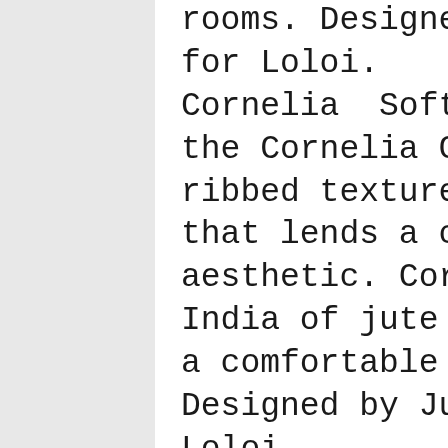rooms. Designed by Justina Blakeney for Loloi. Cornelia  Soft, durable and textured, the Cornelia Collection features a ribbed texture and generous fringe that lends a casual, yet up-to-date aesthetic. Cornelia is printed in India of jute and chenille, ensuring a comfortable feel underfoot. Designed by Justina Blakeney for Loloi.  For news, decorating guidelines and other updates from Loloi, connect via Facebook.